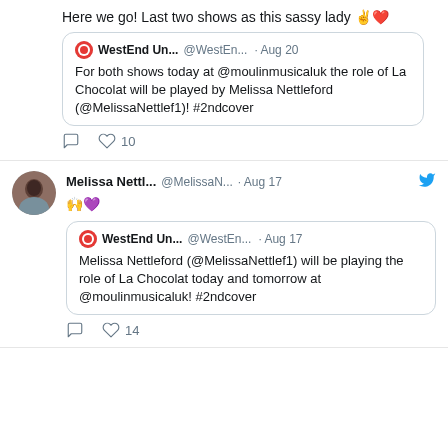Here we go! Last two shows as this sassy lady ✌️❤️
WestEnd Un... @WestEn... · Aug 20
For both shows today at @moulinmusicaluk the role of La Chocolat will be played by Melissa Nettleford (@MelissaNettlef1)! #2ndcover
10
Melissa Nettl... @MelissaN... · Aug 17
🙌💜
WestEnd Un... @WestEn... · Aug 17
Melissa Nettleford (@MelissaNettlef1) will be playing the role of La Chocolat today and tomorrow at @moulinmusicaluk! #2ndcover
14